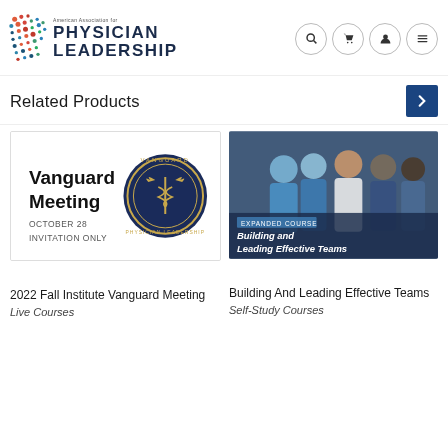[Figure (logo): American Association for Physician Leadership logo with colorful dots pattern and text]
Related Products
[Figure (illustration): Vanguard Meeting event card - October 28, Invitation Only with circular Vanguard seal badge]
[Figure (photo): Expanded Course: Building and Leading Effective Teams - photo of medical professionals in scrubs and lab coat]
2022 Fall Institute Vanguard Meeting
Live Courses
Building And Leading Effective Teams
Self-Study Courses